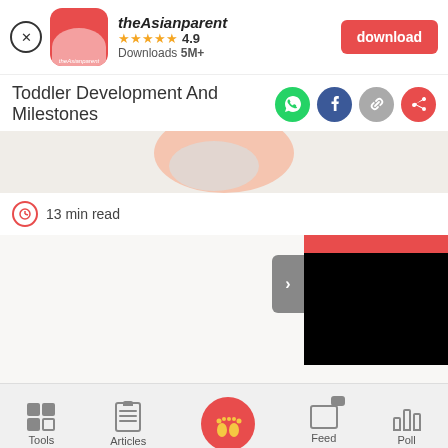[Figure (screenshot): theAsianparent app download banner with app icon, star rating 4.9, Downloads 5M+, and red download button]
Toddler Development And Milestones
[Figure (photo): Baby/toddler hero image partially visible]
13 min read
[Figure (screenshot): Black video overlay with red bar and gray arrow tab]
[Figure (screenshot): Bottom navigation bar with Tools, Articles, center baby feet icon, Feed, Poll]
We use cookies to ensure you get the best experience.
Learn More    Ok, Got it